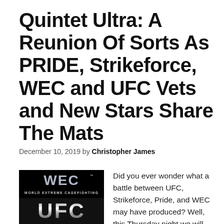Quintet Ultra: A Reunion Of Sorts As PRIDE, Strikeforce, WEC and UFC Vets and New Stars Share The Mats
December 10, 2019 by Christopher James
[Figure (logo): WEC World Extreme Cagefighting logo on black background stacked above UFC logo on dark background]
Did you ever wonder what a battle between UFC, Strikeforce, Pride, and WEC may have produced? Well, this Thursday night we will get to find out, well sort of as